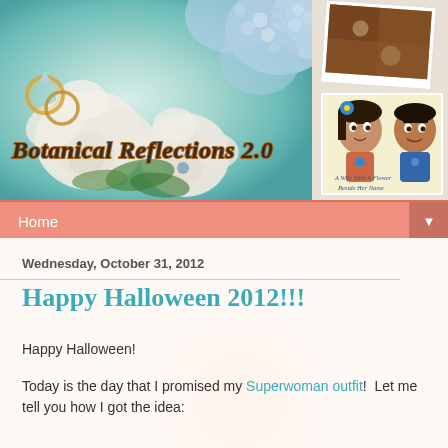[Figure (photo): Blog header banner with blue and white floral/rose bouquet with wedding rings, collage of small photos top right including food and a yellow bird, and cartoon avatar couple (wife with blue flower in hair, husband) bottom right. Blog title 'Botanical Reflections 2.0' overlaid in brown comic-style font, subtitle 'A Wife With A Flower Beside Her Name' in blue cursive.]
Home
Wednesday, October 31, 2012
Happy Halloween 2012!!!
Happy Halloween!
Today is the day that I promised my Superwoman outfit!  Let me tell you how I got the idea: